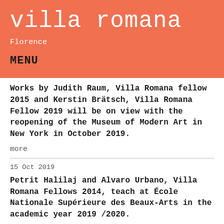villa romana
Florence
MENU
Works by Judith Raum, Villa Romana fellow 2015 and Kerstin Brätsch, Villa Romana Fellow 2019 will be on view with the reopening of the Museum of Modern Art in New York in October 2019.
more
15 Oct 2019
Petrit Halilaj and Alvaro Urbano, Villa Romana Fellows 2014, teach at École Nationale Supérieure des Beaux-Arts in the academic year 2019 /2020.